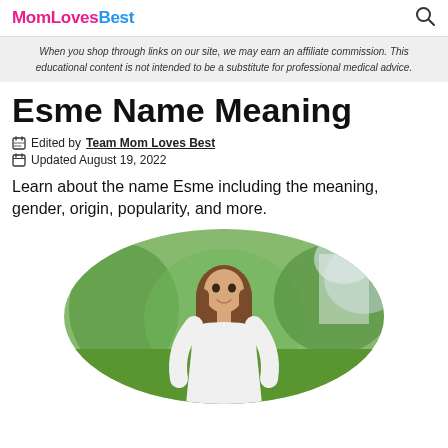MomLovesBest
When you shop through links on our site, we may earn an affiliate commission. This educational content is not intended to be a substitute for professional medical advice.
Esme Name Meaning
Edited by Team Mom Loves Best
Updated August 19, 2022
Learn about the name Esme including the meaning, gender, origin, popularity, and more.
[Figure (photo): A young girl with long brown hair smiling outdoors in a garden setting, shown in an oval-cropped photo]